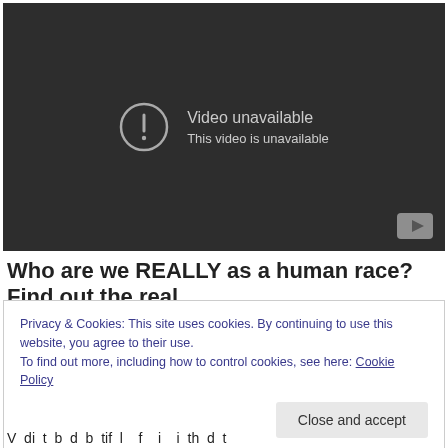[Figure (screenshot): YouTube video player showing 'Video unavailable — This video is unavailable' error message on a dark background, with a YouTube logo button in the bottom right corner.]
Who are we REALLY as a human race? Find out the real
Privacy & Cookies: This site uses cookies. By continuing to use this website, you agree to their use.
To find out more, including how to control cookies, see here: Cookie Policy
[Close and accept]
V di t b d b tif l f i i th d t